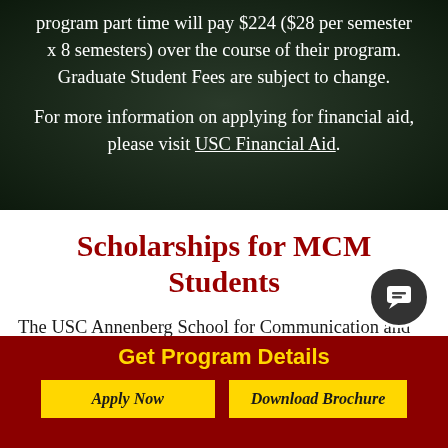program part time will pay $224 ($28 per semester x 8 semesters) over the course of their program. Graduate Student Fees are subject to change.
For more information on applying for financial aid, please visit USC Financial Aid.
Scholarships for MCM Students
The USC Annenberg School for Communication and Journalism is excited to announce Communication Management Merit Scholarships for outstanding applicants admitted to the online Master of Communication
Get Program Details
Apply Now
Download Brochure